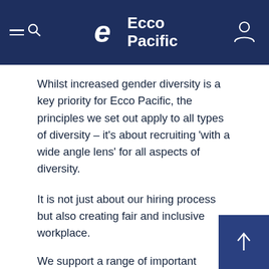Ecco Pacific
Whilst increased gender diversity is a key priority for Ecco Pacific, the principles we set out apply to all types of diversity – it's about recruiting 'with a wide angle lens' for all aspects of diversity.
It is not just about our hiring process but also creating fair and inclusive workplace.
We support a range of important community fund-raising projects each year including:
RU Okay Day